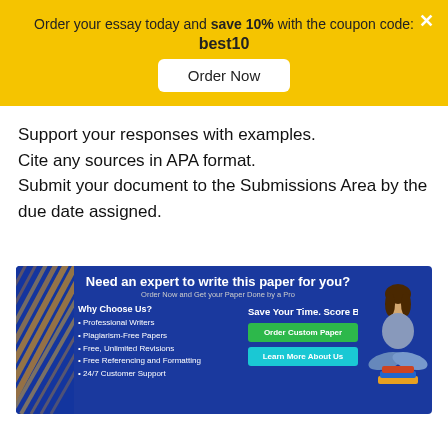Order your essay today and save 10% with the coupon code: best10
Order Now
Support your responses with examples.
Cite any sources in APA format.
Submit your document to the Submissions Area by the due date assigned.
[Figure (infographic): Blue advertisement banner for an essay writing service. Left side has gold diagonal stripes, center shows a woman sitting cross-legged with books. Text reads: Need an expert to write this paper for you? Order Now and Get your Paper Done by a Pro. Why Choose Us? • Professional Writers • Plagiarism-Free Papers • Free, Unlimited Revisions • Free Referencing and Formatting • 24/7 Customer Support. Save Your Time. Score Better. Buttons: Order Custom Paper (green), Learn More About Us (teal).]